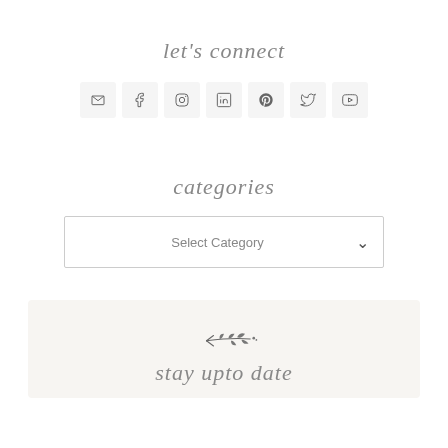let's connect
[Figure (infographic): Row of social media icon buttons: email, facebook, instagram, linkedin, pinterest, twitter, youtube]
categories
Select Category
[Figure (illustration): Decorative botanical leaf/branch illustration pointing left]
stay upto date